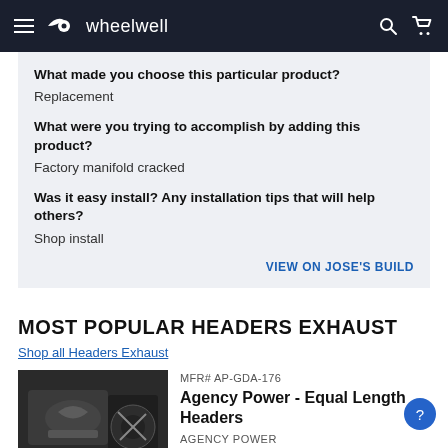wheelwell
What made you choose this particular product?
Replacement
What were you trying to accomplish by adding this product?
Factory manifold cracked
Was it easy install? Any installation tips that will help others?
Shop install
VIEW ON JOSE'S BUILD
MOST POPULAR HEADERS EXHAUST
Shop all Headers Exhaust
MFR# AP-GDA-176
Agency Power - Equal Length Headers
AGENCY POWER